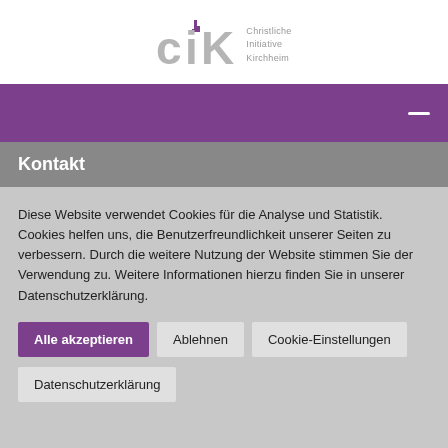[Figure (logo): CiK logo — Christliche Initiative Kirchheim, gray stylized letters with church tower icon]
[Figure (screenshot): Purple navigation bar with white hamburger menu dash icon on right]
Kontakt
Diese Website verwendet Cookies für die Analyse und Statistik. Cookies helfen uns, die Benutzerfreundlichkeit unserer Seiten zu verbessern. Durch die weitere Nutzung der Website stimmen Sie der Verwendung zu. Weitere Informationen hierzu finden Sie in unserer Datenschutzerklärung.
Alle akzeptieren
Ablehnen
Cookie-Einstellungen
Datenschutzerklärung